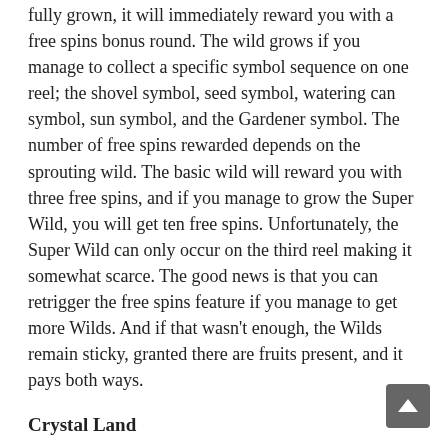fully grown, it will immediately reward you with a free spins bonus round. The wild grows if you manage to collect a specific symbol sequence on one reel; the shovel symbol, seed symbol, watering can symbol, sun symbol, and the Gardener symbol. The number of free spins rewarded depends on the sprouting wild. The basic wild will reward you with three free spins, and if you manage to grow the Super Wild, you will get ten free spins. Unfortunately, the Super Wild can only occur on the third reel making it somewhat scarce. The good news is that you can retrigger the free spins feature if you manage to get more Wilds. And if that wasn't enough, the Wilds remain sticky, granted there are fruits present, and it pays both ways.
Crystal Land
The reason we chose to feature Crystal Land is its immense win potential at x5000, the initial bet. The purpose of the game is to trigger consecutive spins and reach a full grid of crystals. There are seven reels with seven rows, and there are 1024 active paylines. In addition, there are two different wild symbols, bombs that remove low-paying symbols, potions that can color the gems to trigger wins, cash rewards that you can gamble on,